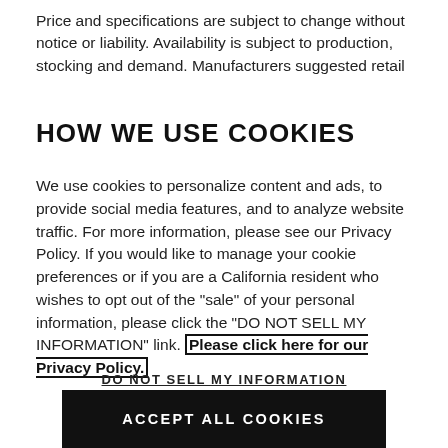Price and specifications are subject to change without notice or liability. Availability is subject to production, stocking and demand. Manufacturers suggested retail
HOW WE USE COOKIES
We use cookies to personalize content and ads, to provide social media features, and to analyze website traffic. For more information, please see our Privacy Policy. If you would like to manage your cookie preferences or if you are a California resident who wishes to opt out of the "sale" of your personal information, please click the "DO NOT SELL MY INFORMATION" link. Please click here for our Privacy Policy.
DO NOT SELL MY INFORMATION
ACCEPT ALL COOKIES